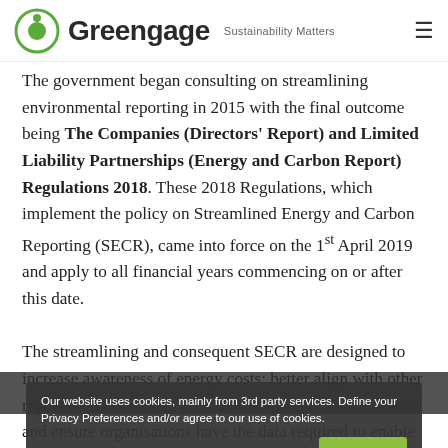Greengage – Sustainability Matters
The government began consulting on streamlining environmental reporting in 2015 with the final outcome being The Companies (Directors' Report) and Limited Liability Partnerships (Energy and Carbon Report) Regulations 2018. These 2018 Regulations, which implement the policy on Streamlined Energy and Carbon Reporting (SECR), came into force on the 1st April 2019 and apply to all financial years commencing on or after this date.

The streamlining and consequent SECR are designed to increase awareness of energy costs; better align with other reporting frameworks; provide transparency for investors; and ensure organisations have the data required to enable them to implement energy efficiency measures and
Our website uses cookies, mainly from 3rd party services. Define your Privacy Preferences and/or agree to our use of cookies.